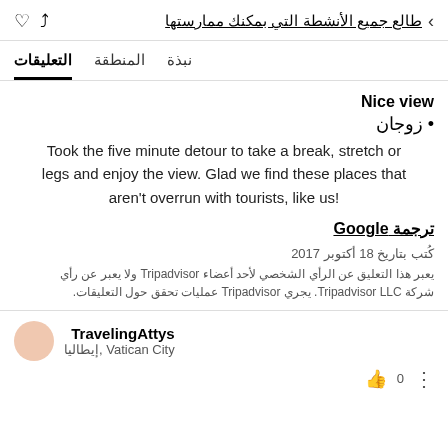طالع جميع الأنشطة التي بمكنك ممارستها
نبذة  المنطقة  التعليقات
Nice view
زوجان •
Took the five minute detour to take a break, stretch or legs and enjoy the view. Glad we find these places that aren't overrun with tourists, like us!
ترجمة Google
كُتب بتاريخ 18 أكتوبر 2017
يعبر هذا التعليق عن الرأي الشخصي لأحد أعضاء Tripadvisor ولا يعبر عن رأي شركة Tripadvisor LLC. يجري Tripadvisor عمليات تحقق حول التعليقات.
TravelingAttys
Vatican City, إيطاليا